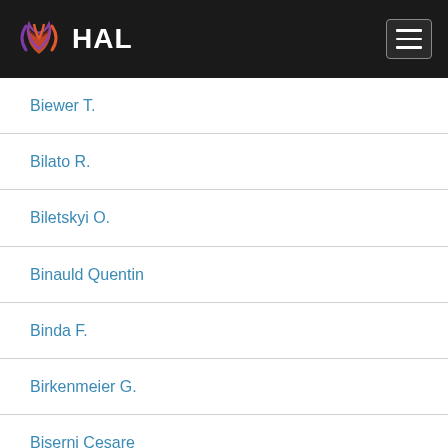HAL
Biewer T.
Bilato R.
Biletskyi O.
Binauld Quentin
Binda F.
Birkenmeier G.
Biserni Cesare
Bizarro J.P.S.
Bjoraker G.
Björkas C.